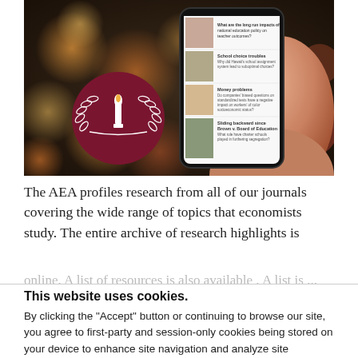[Figure (photo): A hand holding a smartphone displaying AEA research article headlines, with the AEA torch/wreath logo overlaid in a dark red circle on the left. The background shows warm bokeh lights.]
The AEA profiles research from all of our journals covering the wide range of topics that economists study. The entire archive of research highlights is
This website uses cookies.
By clicking the "Accept" button or continuing to browse our site, you agree to first-party and session-only cookies being stored on your device to enhance site navigation and analyze site performance and traffic. For more information on our use of cookies, please see our Privacy Policy